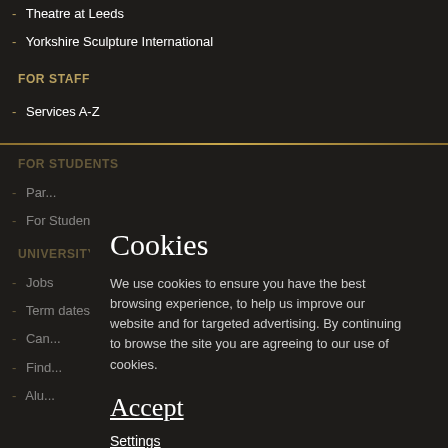- Theatre at Leeds
- Yorkshire Sculpture International
FOR STAFF
- Services A-Z
FOR STUDENTS
Par...
For Students
UNIVERSITY LINKS
Jobs
Term dates
Can...
Find...
Alu...
Cookies
We use cookies to ensure you have the best browsing experience, to help us improve our website and for targeted advertising. By continuing to browse the site you are agreeing to our use of cookies.
Accept
Settings
Find out more